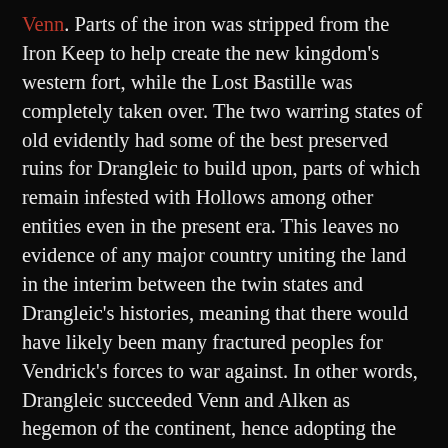Venn. Parts of the iron was stripped from the Iron Keep to help create the new kingdom's western fort, while the Lost Bastille was completely taken over. The two warring states of old evidently had some of the best preserved ruins for Drangleic to build upon, parts of which remain infested with Hollows among other entities even in the present era. This leaves no evidence of any major country uniting the land in the interim between the twin states and Drangleic's histories, meaning that there would have likely been many fractured peoples for Vendrick's forces to war against. In other words, Drangleic succeeded Venn and Alken as hegemon of the continent, hence adopting the latter's dragon crest as its symbol — the twelve smaller crests beneath it would thus be those disparate remnants that the kingdom united under its new banner.